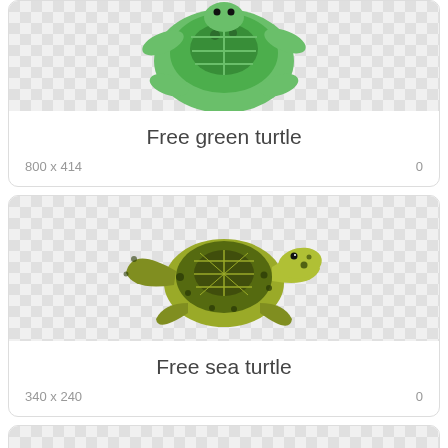[Figure (illustration): Cartoon green turtle clipart, top-down view, partially visible at top of card]
Free green turtle
800 x 414   0
[Figure (illustration): Realistic sea turtle clipart with spotted yellow-green shell and flippers, top-down view]
Free sea turtle
340 x 240   0
[Figure (illustration): Green sea turtle clipart, side-angled view, partially visible at bottom of page]